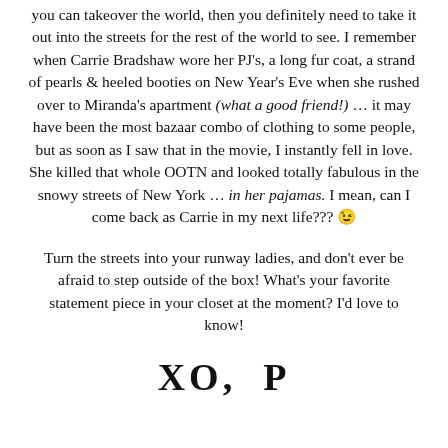you can takeover the world, then you definitely need to take it out into the streets for the rest of the world to see. I remember when Carrie Bradshaw wore her PJ's, a long fur coat, a strand of pearls & heeled booties on New Year's Eve when she rushed over to Miranda's apartment (what a good friend!) … it may have been the most bazaar combo of clothing to some people, but as soon as I saw that in the movie, I instantly fell in love. She killed that whole OOTN and looked totally fabulous in the snowy streets of New York … in her pajamas. I mean, can I come back as Carrie in my next life??? 😉
Turn the streets into your runway ladies, and don't ever be afraid to step outside of the box! What's your favorite statement piece in your closet at the moment? I'd love to know!
XO,  P